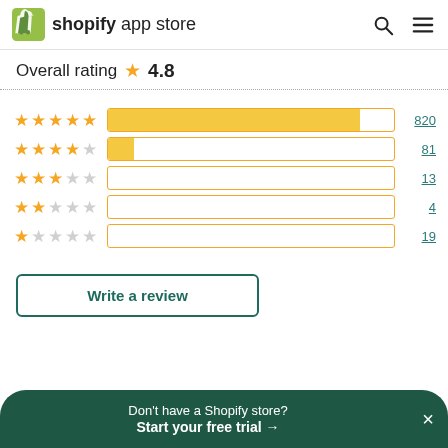shopify app store
Overall rating 4.8
[Figure (bar-chart): Rating distribution]
Write a review
Don't have a Shopify store? Start your free trial →